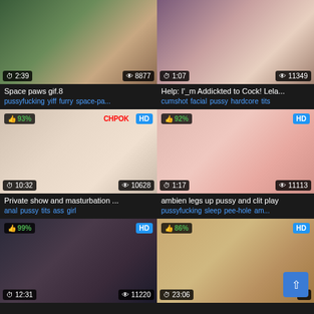[Figure (screenshot): Video thumbnail grid showing 6 video cards in 2 columns]
Space paws gif.8
pussyfucking yiff furry space-pa...
Help: I'_m Addickted to Cock! Lela...
cumshot facial pussy hardcore tits
Private show and masturbation ...
anal pussy tits ass girl
ambien legs up pussy and clit play
pussyfucking sleep pee-hole am...